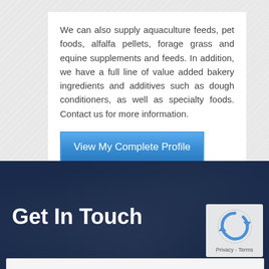We can also supply aquaculture feeds, pet foods, alfalfa pellets, forage grass and equine supplements and feeds. In addition, we have a full line of value added bakery ingredients and additives such as dough conditioners, as well as specialty foods. Contact us for more information.
View My Complete Profile
Get In Touch